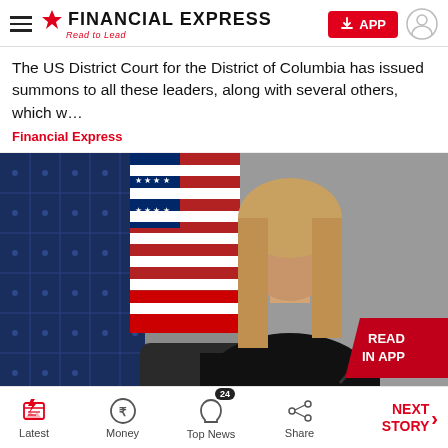Financial Express — Read to Lead
The US District Court for the District of Columbia has issued summons to all these leaders, along with several others, which w…
Financial Express
[Figure (photo): A woman with long blonde hair wearing a black outfit sits at a desk with a microphone in front of her. An American flag and what appears to be a solar panel are visible in the background. A 'READ IN APP' badge is overlaid on the bottom right of the image.]
Latest | Money | Top News 24 | Share | NEXT STORY